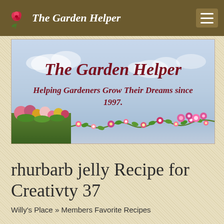The Garden Helper
[Figure (illustration): The Garden Helper website banner showing title 'The Garden Helper' in dark red italic bold text and subtitle 'Helping Gardeners Grow Their Dreams since 1997.' on a light blue sky background with flower and vine border at bottom and garden image at lower left]
rhurbarb jelly Recipe for Creativty 37
Willy's Place » Members Favorite Recipes